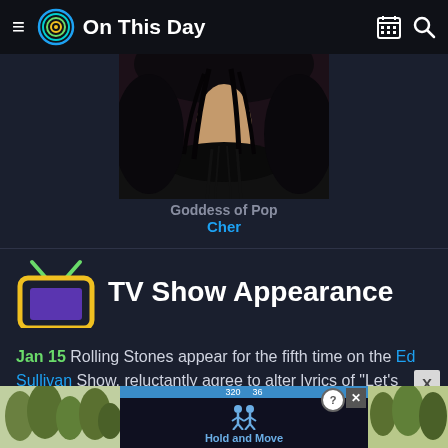On This Day
[Figure (photo): Cropped photo of Cher showing neck and black outfit with black hair]
Goddess of Pop
Cher
TV Show Appearance
Jan 15 Rolling Stones appear for the fifth time on the Ed Sullivan Show, reluctantly agree to alter lyrics of "Let's Spend The Night Together" [1] [2]
[Figure (screenshot): Advertisement banner at bottom showing Hold and Move app with trees background]